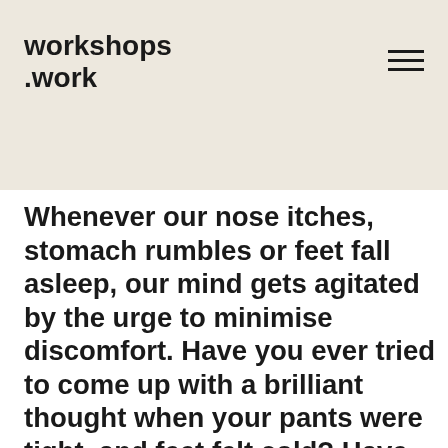workshops.work
Whenever our nose itches, stomach rumbles or feet fall asleep, our mind gets agitated by the urge to minimise discomfort. Have you ever tried to come up with a brilliant thought when your pants were tight, and feet felt cold? Have you ever wondered why physical exercise becomes much easier while watching TV? There is evidence for a connection between physical comfort and focus showing that our body feels actual pain as a reaction